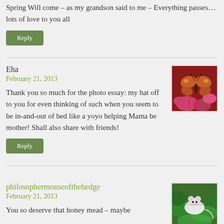Spring Will come – as my grandson said to me – Everything passes…lots of love to you all
Reply
Eha
February 21, 2013
[Figure (photo): Butterfly on red/pink flowers]
Thank you so much for the photo essay: my hat off to you for even thinking of such when you seem to be in-and-out of bed like a yoyo helping Mama be mother! Shall also share with friends!
Reply
philosophermouseofthehedge
February 21, 2013
[Figure (photo): White mouse or small animal on green leaves]
You so deserve that honey mead – maybe